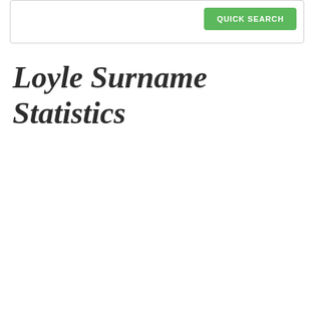[Figure (screenshot): Search bar area with a green QUICK SEARCH button on the right side]
Loyle Surname Statistics